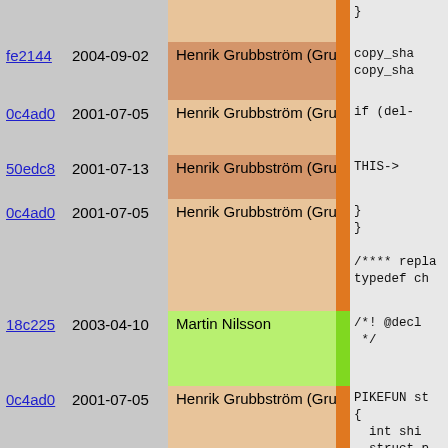| hash | date | author | code |
| --- | --- | --- | --- |
|  |  |  | } |
| fe2144 | 2004-09-02 | Henrik Grubbström (Grubba) | copy_sha
copy_sha |
| 0c4ad0 | 2001-07-05 | Henrik Grubbström (Grubba) | if (del- |
| 50edc8 | 2001-07-13 | Henrik Grubbström (Grubba) | THIS-> |
| 0c4ad0 | 2001-07-05 | Henrik Grubbström (Grubba) | }
}

/**** repla
typedef ch |
| 18c225 | 2003-04-10 | Martin Nilsson | /*! @decl
 */ |
| 0c4ad0 | 2001-07-05 | Henrik Grubbström (Grubba) | PIKEFUN st
{
  int shi
  struct p
  struct p
  struct p

  if (!st
    /* The
    retur
  } |